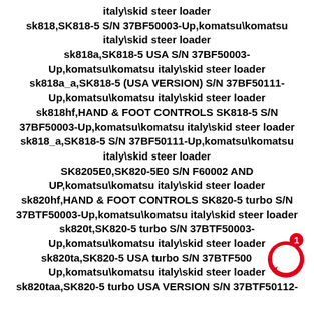italy\skid steer loader
sk818,SK818-5 S/N 37BF50003-Up,komatsu\komatsu italy\skid steer loader
sk818a,SK818-5 USA S/N 37BF50003-Up,komatsu\komatsu italy\skid steer loader
sk818a_a,SK818-5 (USA VERSION) S/N 37BF50111-Up,komatsu\komatsu italy\skid steer loader
sk818hf,HAND & FOOT CONTROLS SK818-5 S/N 37BF50003-Up,komatsu\komatsu italy\skid steer loader
sk818_a,SK818-5 S/N 37BF50111-Up,komatsu\komatsu italy\skid steer loader
SK8205E0,SK820-5E0 S/N F60002 AND UP,komatsu\komatsu italy\skid steer loader
sk820hf,HAND & FOOT CONTROLS SK820-5 turbo S/N 37BTF50003-Up,komatsu\komatsu italy\skid steer loader
sk820t,SK820-5 turbo S/N 37BTF50003-Up,komatsu\komatsu italy\skid steer loader
sk820ta,SK820-5 USA turbo S/N 37BTF50003-Up,komatsu\komatsu italy\skid steer loader
sk820taa,SK820-5 turbo USA VERSION S/N 37BTF50112-